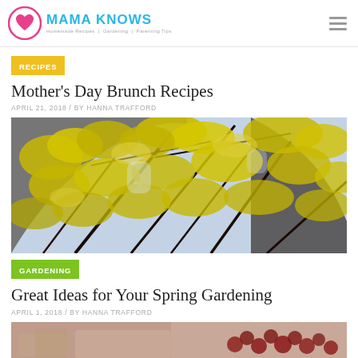MAMA KNOWS — Homemade Recipes | Gardening | Parenting Tips
RECIPES
Mother's Day Brunch Recipes
APRIL 21, 2018 / BY HANNA TRAFFORD
[Figure (photo): Close-up photo of yellow forsythia blossoms on branches against a light background]
GARDENING
Great Ideas for Your Spring Gardening
APRIL 1, 2018 / BY HANNA TRAFFORD
[Figure (photo): Partial view of a second gardening-related photo at the bottom of the page]